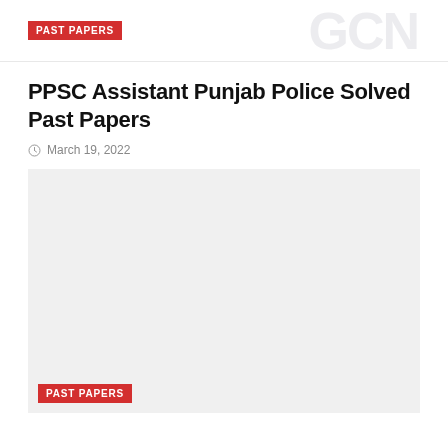PAST PAPERS
PPSC Assistant Punjab Police Solved Past Papers
March 19, 2022
[Figure (other): Large light gray placeholder image block with a red 'PAST PAPERS' badge label in the bottom-left corner]